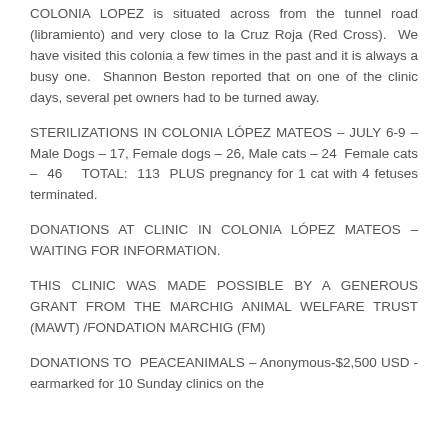COLONIA LOPEZ is situated across from the tunnel road (libramiento) and very close to la Cruz Roja (Red Cross).  We have visited this colonia a few times in the past and it is always a busy one.  Shannon Beston reported that on one of the clinic days, several pet owners had to be turned away.
STERILIZATIONS IN COLONIA LÓPEZ MATEOS – JULY 6-9 – Male Dogs – 17, Female dogs – 26, Male cats – 24  Female cats –  46    TOTAL:  113  PLUS pregnancy for 1 cat with 4 fetuses terminated.
DONATIONS AT CLINIC IN COLONIA LÓPEZ MATEOS – WAITING FOR INFORMATION.
THIS CLINIC WAS MADE POSSIBLE BY A GENEROUS GRANT FROM THE MARCHIG ANIMAL WELFARE TRUST (MAWT) /FONDATION MARCHIG (FM)
DONATIONS TO  PEACEANIMALS – Anonymous-$2,500 USD -earmarked for 10 Sunday clinics on the